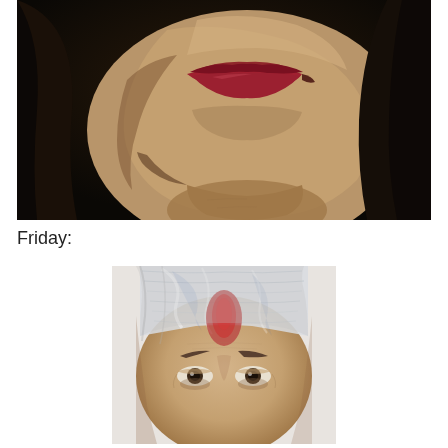[Figure (photo): Close-up photo of a person's lower face showing mouth/chin area with apparent injury or bruising, dark hair visible on sides, dark background]
Friday:
[Figure (photo): Close-up photo of an older person's face with plastic wrap/bandaging material covering forehead area and visible redness/injury on forehead between eyebrows, front-facing view showing eyes and eyebrows]